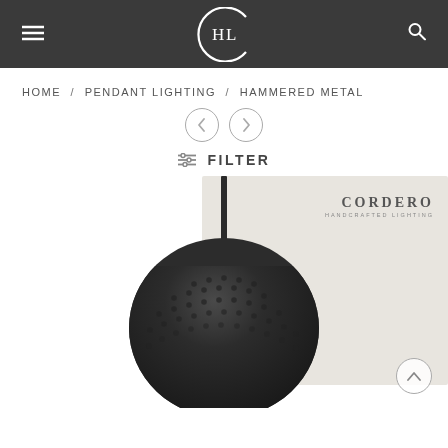CHL logo — Hammered Metal Pendant Lighting product page header
HOME / PENDANT LIGHTING / HAMMERED METAL
[Figure (screenshot): Navigation arrow buttons (left and right chevrons in circular outlines)]
FILTER
[Figure (photo): Hammered black metal dome pendant lamp hanging from a dark rod. Textured surface with hammered dimple pattern. Brand: CORDERO HANDCRAFTED LIGHTING shown in upper right of image card.]